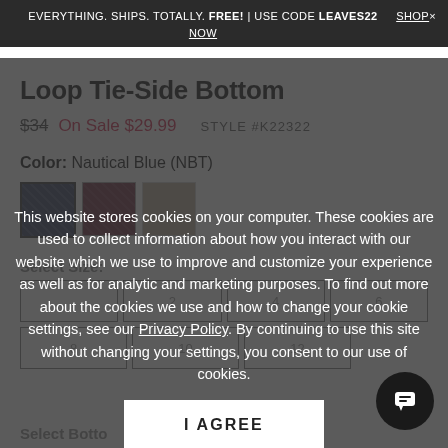EVERYTHING. SHIPS. TOTALLY. FREE! | USE CODE LEAVES22   SHOP×
NOW
Loop Tie-Side Bottom
$34  On Sale $29.99  STYLE #K22322
Color: Nautical Blue (NBT)
[Figure (other): Three color swatches: dark blue (selected with border), wine/burgundy, and taupe/beige]
This website stores cookies on your computer. These cookies are used to collect information about how you interact with our website which we use to improve and customize your experience as well as for analytic and marketing purposes. To find out more about the cookies we use and how to change your cookie settings, see our Privacy Policy. By continuing to use this site without changing your settings, you consent to our use of cookies.
Select Size:
2  4  6  8
10  12
I AGREE
Select Botto...